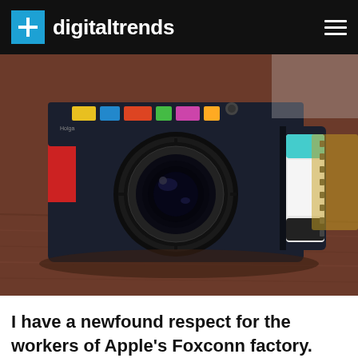digitaltrends
[Figure (photo): A colorful Lomo-style film camera with a large lens, red and black design with colorful stickers on top, and a film canister compartment on the right side, sitting on a wooden surface.]
I have a newfound respect for the workers of Apple's Foxconn factory. And I'm not even an iOS user.